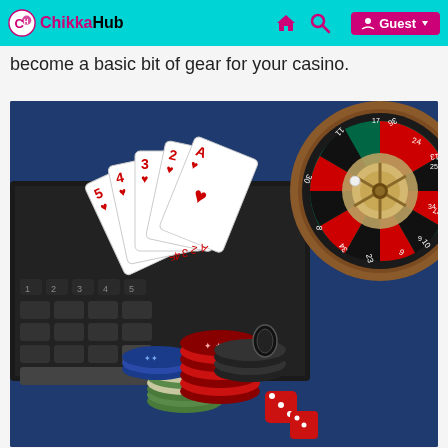ChikkaHub — Guest
become a basic bit of gear for your casino.
[Figure (photo): Casino scene showing playing cards (5, 4, 3, 2, Ace of hearts) fanned out on a laptop keyboard, stacks of casino chips (red, blue, green/white), red dice, and a roulette wheel on the right side, all on a blue surface.]